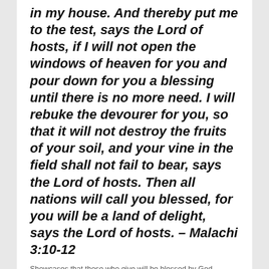in my house. And thereby put me to the test, says the Lord of hosts, if I will not open the windows of heaven for you and pour down for you a blessing until there is no more need. I will rebuke the devourer for you, so that it will not destroy the fruits of your soil, and your vine in the field shall not fail to bear, says the Lord of hosts. Then all nations will call you blessed, for you will be a land of delight, says the Lord of hosts. – Malachi 3:10-12
Showcases that those who give will be blessed by God.